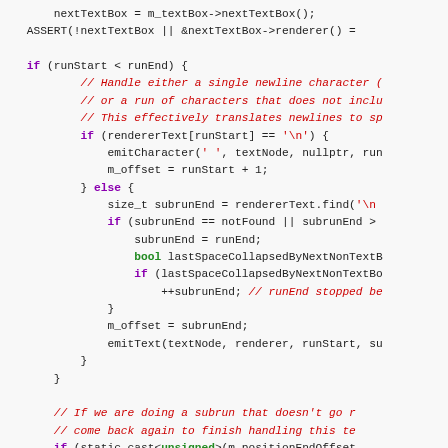[Figure (screenshot): Source code snippet in C++ with syntax highlighting showing text layout rendering logic including nextTextBox assignment, ASSERT, if/else blocks for runStart/runEnd, emitCharacter, m_offset, subrunEnd, lastSpaceCollapsedByNextNonTextBox, emitText, and return statements with color-coded keywords and comments.]